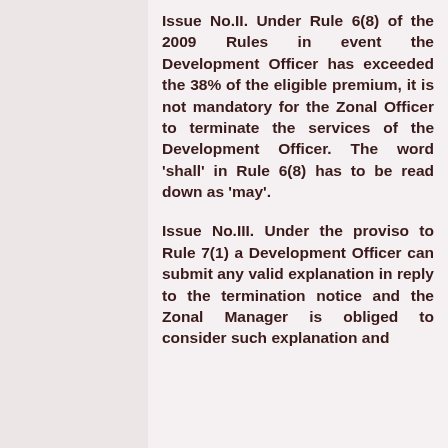Issue No.II. Under Rule 6(8) of the 2009 Rules in event the Development Officer has exceeded the 38% of the eligible premium, it is not mandatory for the Zonal Officer to terminate the services of the Development Officer. The word 'shall' in Rule 6(8) has to be read down as 'may'.
Issue No.III. Under the proviso to Rule 7(1) a Development Officer can submit any valid explanation in reply to the termination notice and the Zonal Manager is obliged to consider such explanation and